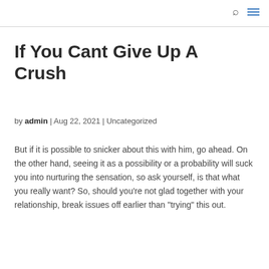🔍 ≡
If You Cant Give Up A Crush
by admin | Aug 22, 2021 | Uncategorized
But if it is possible to snicker about this with him, go ahead. On the other hand, seeing it as a possibility or a probability will suck you into nurturing the sensation, so ask yourself, is that what you really want? So, should you're not glad together with your relationship, break issues off earlier than "trying" this out.